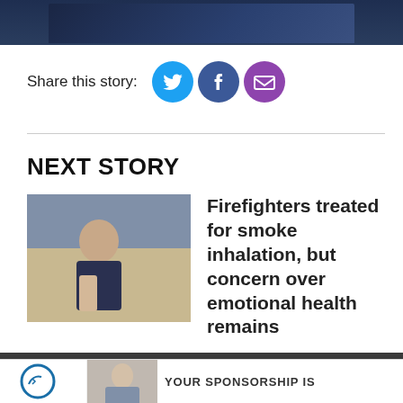[Figure (photo): Dark blue banner image at top of page, partially cropped]
Share this story:
[Figure (infographic): Three social share icon circles: Twitter (blue), Facebook (dark blue), Email (purple)]
NEXT STORY
[Figure (photo): Photo of a man in a dark shirt standing in what appears to be an indoor public space]
Firefighters treated for smoke inhalation, but concern over emotional health remains
[Figure (infographic): Footer advertisement area with a logo, a photo, and the text YOUR SPONSORSHIP IS]